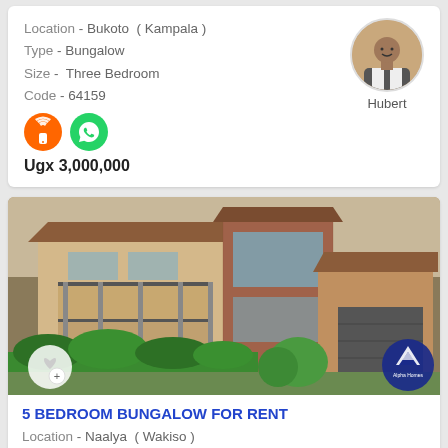Location - Bukoto ( Kampala )
Type - Bungalow
Size - Three Bedroom
Code - 64159
Ugx 3,000,000
[Figure (photo): Agent photo of Hubert, a man in a jacket]
Hubert
[Figure (photo): Exterior photo of a large two-story bungalow with brick and plaster facade, tiled roof, balcony with iron railings, green hedges in front, and a garage on the right. Alpha Homes logo watermark in bottom right corner.]
5 BEDROOM BUNGALOW FOR RENT
Location - Naalya ( Wakiso )
Type - Bungalow